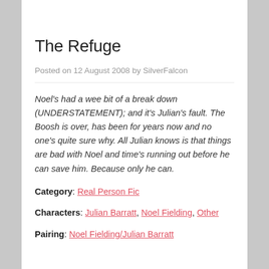The Refuge
Posted on 12 August 2008 by SilverFalcon
Noel's had a wee bit of a break down (UNDERSTATEMENT); and it's Julian's fault. The Boosh is over, has been for years now and no one's quite sure why. All Julian knows is that things are bad with Noel and time's running out before he can save him. Because only he can.
Category: Real Person Fic
Characters: Julian Barratt, Noel Fielding, Other
Pairing: Noel Fielding/Julian Barratt